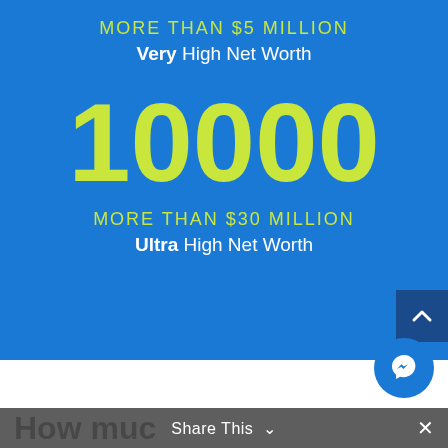MORE THAN $5 MILLION
Very High Net Worth
10000
MORE THAN $30 MILLION
Ultra High Net Worth
How much